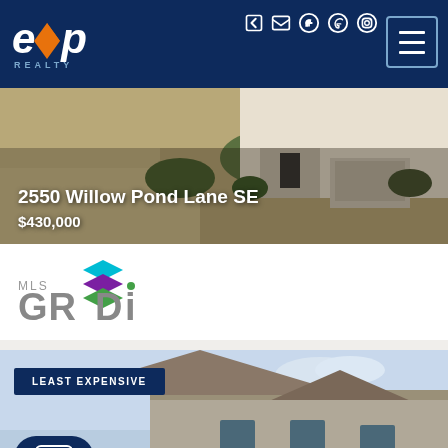[Figure (logo): eXp Realty logo in white on dark blue header with orange chevron]
[Figure (photo): Residential property exterior photo showing driveway and landscaping]
2550 Willow Pond Lane SE
$430,000
[Figure (logo): MLS GRID logo with colorful stacked layers icon]
[Figure (photo): Second property listing showing house roofline against blue sky with LEAST EXPENSIVE badge and chat button]